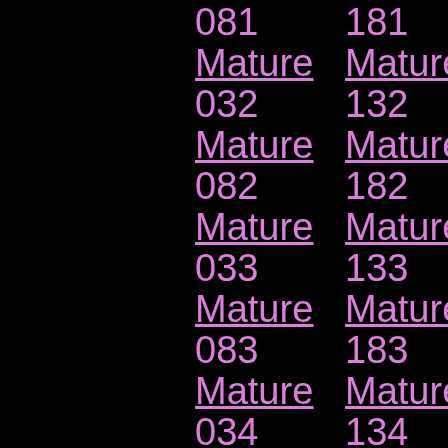|  | 081 | 181 | 189 |
|  | Mature | Mature | 90 |
|  | 032 | 132 | Mat |
|  | Mature | Mature | Tub |
|  | 082 | 182 | 188 |
|  | Mature | Mature | 90 |
|  | 033 | 133 | Mat |
|  | Mature | Mature | Tub |
|  | 083 | 183 | 187 |
|  | Mature | Mature | 90 |
|  | 034 | 134 | Mat |
|  | Mature | Mature | Tub |